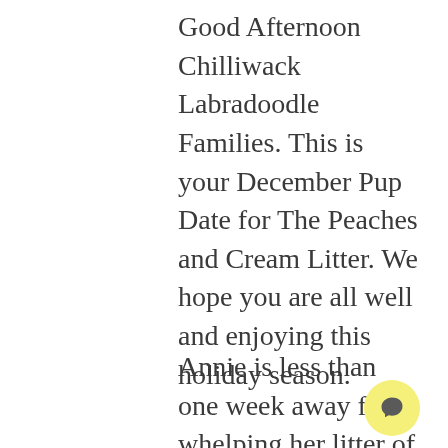Good Afternoon Chilliwack Labradoodle Families. This is your December Pup Date for The Peaches and Cream Litter. We hope you are all well and enjoying this holiday season.
Annie is less than one week away from whelping her litter of puppies! She has